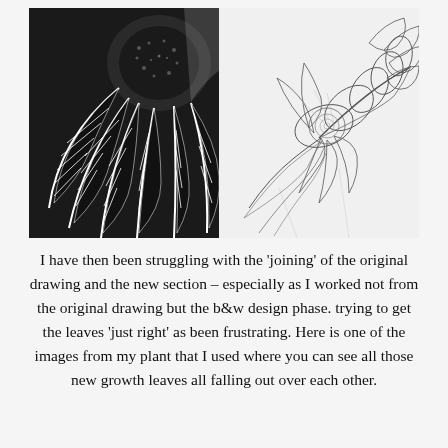[Figure (illustration): Black and white botanical illustration showing a bold woodcut-style print of plant leaves on the left side with a black background, contrasted with a delicate pencil drawing of succulent/floral plant forms on the right side against a light background.]
I have then been struggling with the 'joining' of the original drawing and the new section – especially as I worked not from the original drawing but the b&w design phase. trying to get the leaves 'just right' as been frustrating. Here is one of the images from my plant that I used where you can see all those new growth leaves all falling out over each other.